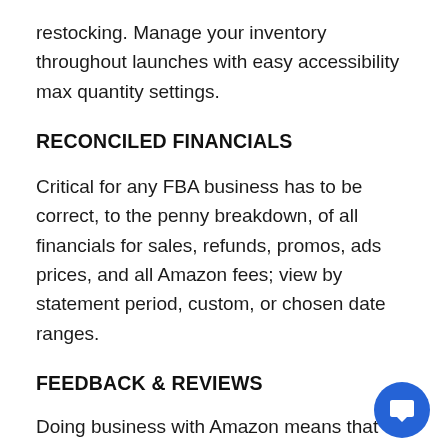restocking. Manage your inventory throughout launches with easy accessibility max quantity settings.
RECONCILED FINANCIALS
Critical for any FBA business has to be correct, to the penny breakdown, of all financials for sales, refunds, promos, ads prices, and all Amazon fees; view by statement period, custom, or chosen date ranges.
FEEDBACK & REVIEWS
Doing business with Amazon means that client